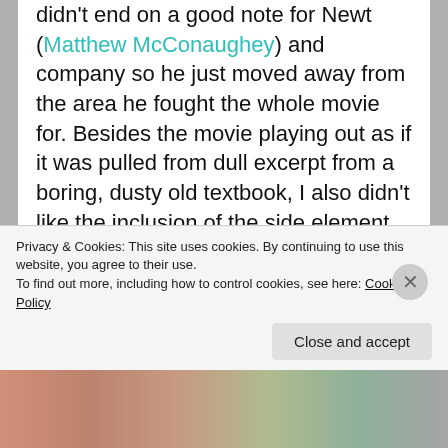didn't end on a good note for Newt (Matthew McConaughey) and company so he just moved away from the area he fought the whole movie for. Besides the movie playing out as if it was pulled from dull excerpt from a boring, dusty old textbook, I also didn't like the inclusion of the side element of a member of Newts family and his court case. That part of the story wasn't needed for us to know how cruel the world was at the time. The scenes just took up unwanted space. Lastly, McConaughey was good as his typical McConaughey self but it still wasn't able to up the quality of the movie. Oh, and LASTLY lastly, why did they have to kill so
Privacy & Cookies: This site uses cookies. By continuing to use this website, you agree to their use.
To find out more, including how to control cookies, see here: Cookie Policy